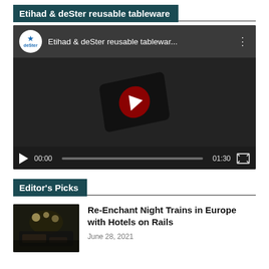Etihad & deSter reusable tableware
[Figure (screenshot): YouTube video embed showing 'Etihad & deSter reusable tabletwar...' video with play button, progress bar showing 00:00 / 01:30]
Editor's Picks
[Figure (photo): Thumbnail image of a night train compartment with ambient lighting]
Re-Enchant Night Trains in Europe with Hotels on Rails
June 28, 2021